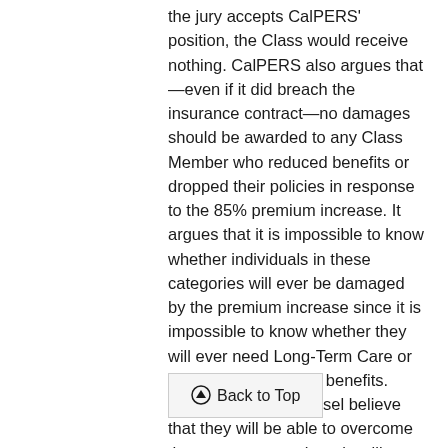the jury accepts CalPERS' position, the Class would receive nothing. CalPERS also argues that—even if it did breach the insurance contract—no damages should be awarded to any Class Member who reduced benefits or dropped their policies in response to the 85% premium increase. It argues that it is impossible to know whether individuals in these categories will ever be damaged by the premium increase since it is impossible to know whether they will ever need Long-Term Care or exhaust any reduced benefits. Although Class Counsel believe that they will be able to overcome these arguments, there is still a risk that a jury or trial or appellate court may accept CalPERS' position on these and other issues.
⊙ Back to Top